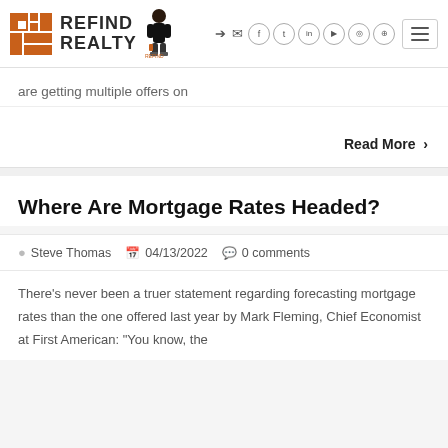Refind Realty
are getting multiple offers on
Read More >
Where Are Mortgage Rates Headed?
Steve Thomas   04/13/2022   0 comments
There's never been a truer statement regarding forecasting mortgage rates than the one offered last year by Mark Fleming, Chief Economist at First American: 'You know, the